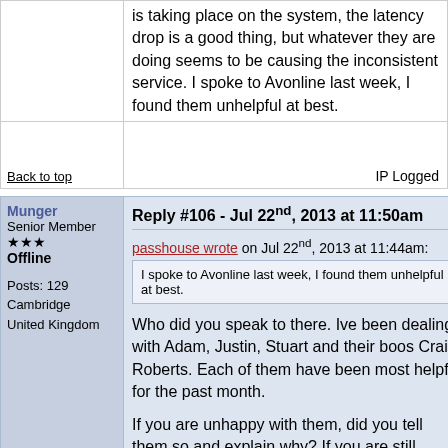is taking place on the system, the latency drop is a good thing, but whatever they are doing seems to be causing the inconsistent service. I spoke to Avonline last week, I found them unhelpful at best.
Back to top
IP Logged
Munger
Senior Member
★★★
Offline
Reply #106 - Jul 22nd, 2013 at 11:50am
passhouse wrote on Jul 22nd, 2013 at 11:44am:
I spoke to Avonline last week, I found them unhelpful at best.
Posts: 129
Cambridge
United Kingdom
Who did you speak to there. Ive been dealing with Adam, Justin, Stuart and their boos Craig Roberts. Each of them have been most helpful for the past month.
If you are unhappy with them, did you tell them so and explain why? If you are still concerned speak with Craig Roberts. He's the broadband head there and can sometimes be willing to offer more info than the guys on the desk can offer.